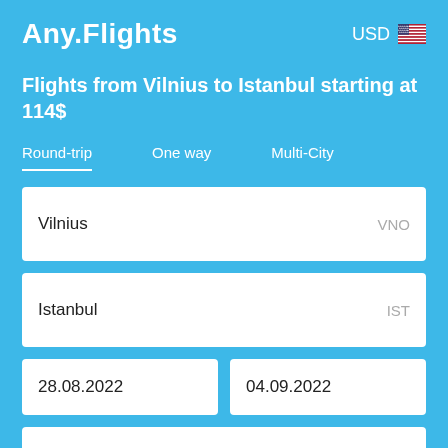Any.Flights
USD 🇺🇸
Flights from Vilnius to Istanbul starting at 114$
Round-trip
One way
Multi-City
Vilnius  VNO
Istanbul  IST
28.08.2022
04.09.2022
1 passenger, economy